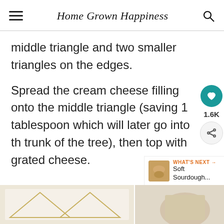Home Grown Happiness
middle triangle and two smaller triangles on the edges.
Spread the cream cheese filling onto the middle triangle (saving 1 tablespoon which will later go into the trunk of the tree), then top with grated cheese.
[Figure (photo): Two side-by-side food preparation photos showing pastry triangles on a white surface]
WHAT'S NEXT → Soft Sourdough...